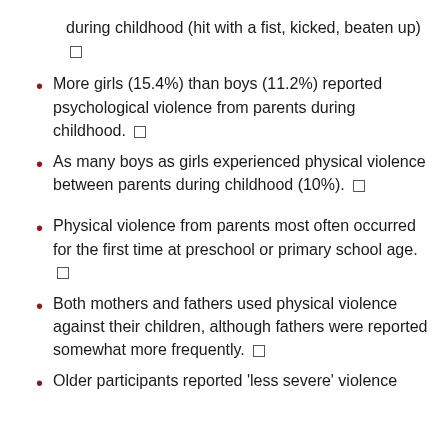during childhood (hit with a fist, kicked, beaten up) □
More girls (15.4%) than boys (11.2%) reported psychological violence from parents during childhood. □
As many boys as girls experienced physical violence between parents during childhood (10%). □
Physical violence from parents most often occurred for the first time at preschool or primary school age. □
Both mothers and fathers used physical violence against their children, although fathers were reported somewhat more frequently. □
Older participants reported 'less severe' violence